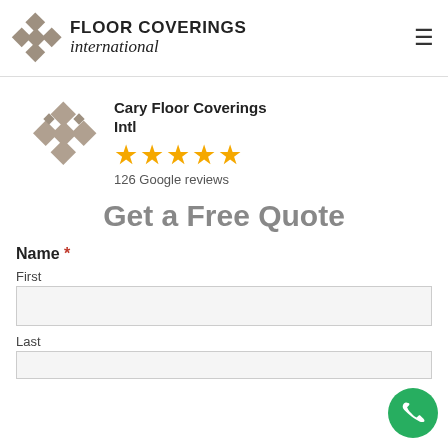[Figure (logo): Floor Coverings International logo with diamond tile icon, company name in bold uppercase and italic script]
Cary Floor Coverings Intl
★★★★★
126 Google reviews
Get a Free Quote
Name *
First
Last